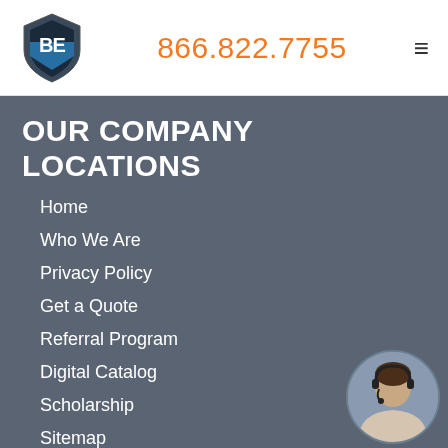866.822.7755
OUR COMPANY LOCATIONS
Home
Who We Are
Privacy Policy
Get a Quote
Referral Program
Digital Catalog
Scholarship
Sitemap
[Figure (photo): Customer service representative wearing a headset]